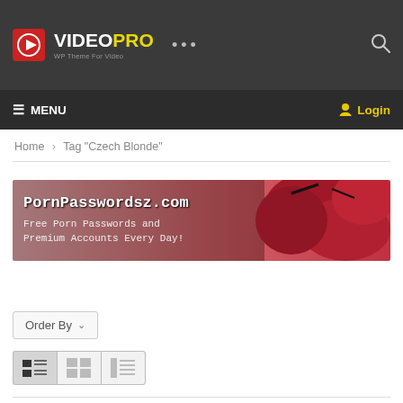[Figure (screenshot): VideoPro WP Theme for Video logo with red play button icon, white VIDEO text and yellow PRO text]
≡ MENU   Login
Home > Tag "Czech Blonde"
[Figure (photo): Banner advertisement for PornPasswordsz.com - Free Porn Passwords and Premium Accounts Every Day! with red bikini image on right]
Order By ∨
[Figure (screenshot): Three view toggle buttons: list view (active/dark), grid view, and mixed view layout icons]